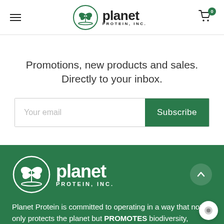[Figure (logo): Planet Protein, Inc. logo — green tree-in-circle icon with bold text 'planet' and 'PROTEIN, INC.' underneath, in black on white background]
Promotions, new products and sales. Directly to your inbox.
Your email
Subscribe
[Figure (logo): Planet Protein, Inc. logo in white on dark green background — tree-in-circle icon with 'planet' in large bold white text and 'PROTEIN, INC.' in white spaced caps below]
Planet Protein is committed to operating in a way that not only protects the planet but PROMOTES biodiversity, organic living, and ethical standards. We source our